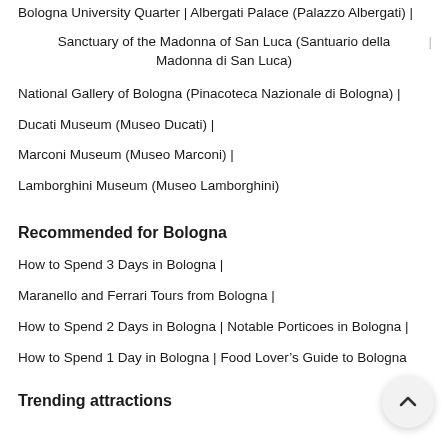Bologna University Quarter | Albergati Palace (Palazzo Albergati) |
Sanctuary of the Madonna of San Luca (Santuario della Madonna di San Luca)
National Gallery of Bologna (Pinacoteca Nazionale di Bologna) |
Ducati Museum (Museo Ducati) |
Marconi Museum (Museo Marconi) |
Lamborghini Museum (Museo Lamborghini)
Recommended for Bologna
How to Spend 3 Days in Bologna |
Maranello and Ferrari Tours from Bologna |
How to Spend 2 Days in Bologna | Notable Porticoes in Bologna |
How to Spend 1 Day in Bologna | Food Lover's Guide to Bologna
Trending attractions